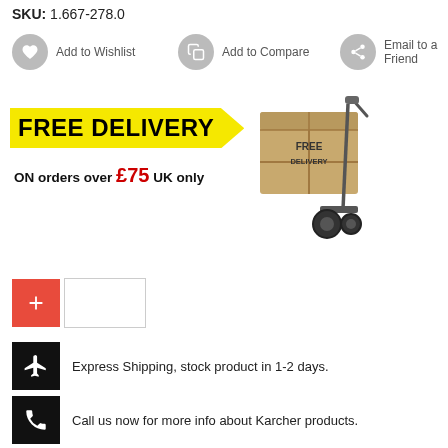SKU: 1.667-278.0
Add to Wishlist
Add to Compare
Email to a Friend
[Figure (infographic): FREE DELIVERY banner with yellow background arrow shape, text 'ON orders over £75 UK only', and an illustration of a cardboard box on a hand truck labeled FREE DELIVERY]
[Figure (other): Quantity selector: red plus button and empty input field]
Express Shipping, stock product in 1-2 days.
Call us now for more info about Karcher products.
All prices showed in our website are VAT included.